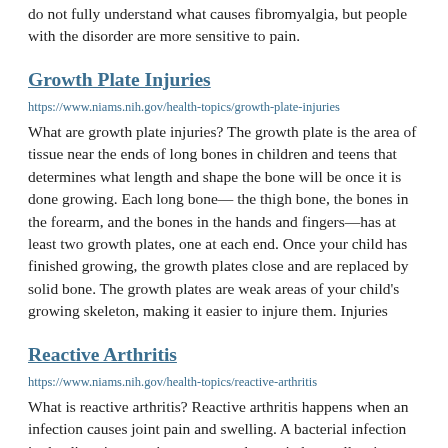do not fully understand what causes fibromyalgia, but people with the disorder are more sensitive to pain.
Growth Plate Injuries
https://www.niams.nih.gov/health-topics/growth-plate-injuries
What are growth plate injuries? The growth plate is the area of tissue near the ends of long bones in children and teens that determines what length and shape the bone will be once it is done growing. Each long bone— the thigh bone, the bones in the forearm, and the bones in the hands and fingers—has at least two growth plates, one at each end. Once your child has finished growing, the growth plates close and are replaced by solid bone. The growth plates are weak areas of your child's growing skeleton, making it easier to injure them. Injuries
Reactive Arthritis
https://www.niams.nih.gov/health-topics/reactive-arthritis
What is reactive arthritis? Reactive arthritis happens when an infection causes joint pain and swelling. A bacterial infection in the digestive or urinary tract or the genitals usually triggers the condition, but arthritis symptoms typically do not start until a few weeks after you have recovered from the infection. The most common features of reactive arthritis are inflammation of the joints